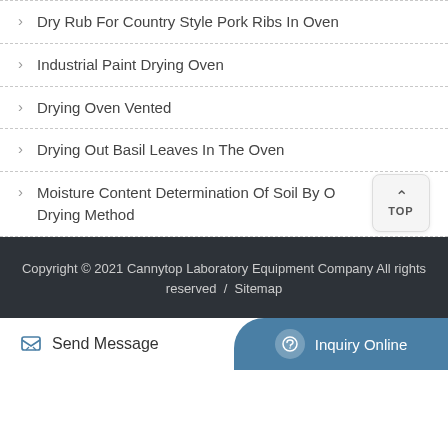Dry Rub For Country Style Pork Ribs In Oven
Industrial Paint Drying Oven
Drying Oven Vented
Drying Out Basil Leaves In The Oven
Moisture Content Determination Of Soil By Oven Drying Method
Copyright © 2021 Cannytop Laboratory Equipment Company All rights reserved / Sitemap
Send Message
Inquiry Online